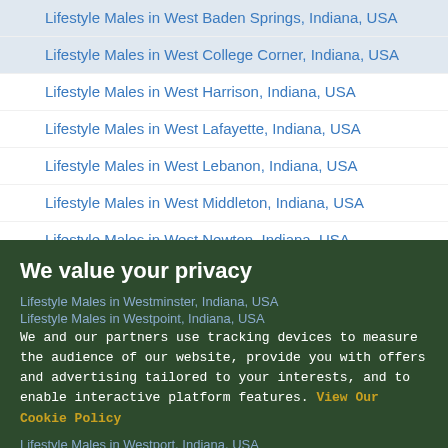Lifestyle Males in West Baden Springs, Indiana, USA
Lifestyle Males in West College Corner, Indiana, USA
Lifestyle Males in West Harrison, Indiana, USA
Lifestyle Males in West Lafayette, Indiana, USA
Lifestyle Males in West Lebanon, Indiana, USA
Lifestyle Males in West Middleton, Indiana, USA
Lifestyle Males in West Newton, Indiana, USA
Lifestyle Males in West Terre Haute, Indiana, USA
Lifestyle Males in Westfield, Indiana, USA
Lifestyle Males in Westminster, Indiana, USA
Lifestyle Males in Westpoint, Indiana, USA
Lifestyle Males in Westport, Indiana, USA
Lifestyle Males in Westville, Indiana, USA
Lifestyle Males in Wheatfield, Indiana, USA
Lifestyle Males in Wheatland, Indiana, USA
Lifestyle Males in Wheeler, Indiana, USA
We value your privacy
We and our partners use tracking devices to measure the audience of our website, provide you with offers and advertising tailored to your interests, and to enable interactive platform features. View Our Cookie Policy
Yes, I agree
If you do not agree, please discontinue use of the site
Lifestyle Males in Whiting, Indiana, USA
Lifestyle Males in Wilkinson, Indiana, USA